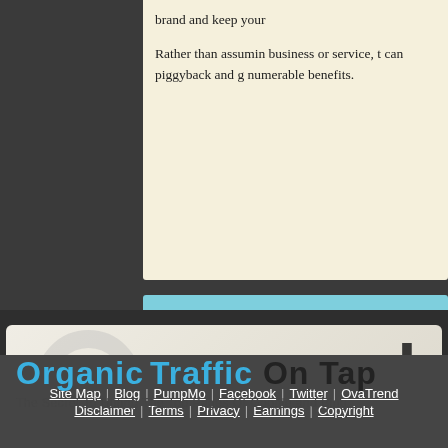brand and keep your
Rather than assuming business or service, t can piggyback and g numerable benefits.
You must be logged in to
[Figure (infographic): Organic Traffic On Tap banner ad - blue text 'Organic Traffic' followed by dark 'On Tap' with subtitle 'The Secret To Hitting The Top Pages Of Google and Bing']
Site Map | Blog | PumpMo | Facebook | Twitter | OvaTrend | Disclaimer | Terms | Privacy | Earnings | Copyright